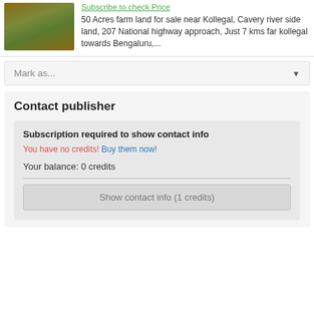[Figure (photo): Thumbnail image of farm land, greenish-brown landscape]
Subscribe to check Price
50 Acres farm land for sale near Kollegal, Cavery river side land, 207 National highway approach, Just 7 kms far kollegal towards Bengaluru,...
Mark as...
Contact publisher
Subscription required to show contact info
You have no credits! Buy them now!
Your balance: 0 credits
Show contact info (1 credits)